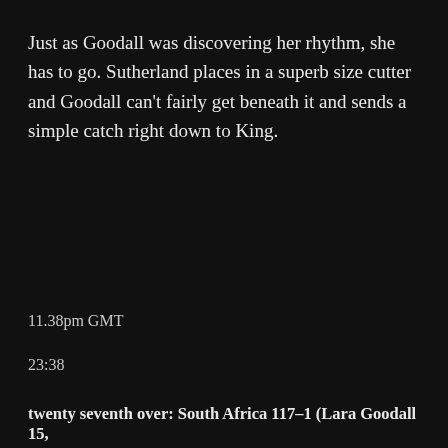Just as Goodall was discovering her rhythm, she has to go. Sutherland places in a superb size cutter and Goodall can't fairly get beneath it and sends a simple catch right down to King.
11.38pm GMT
23:38
twenty seventh over: South Africa 117–1 (Lara Goodall 15,